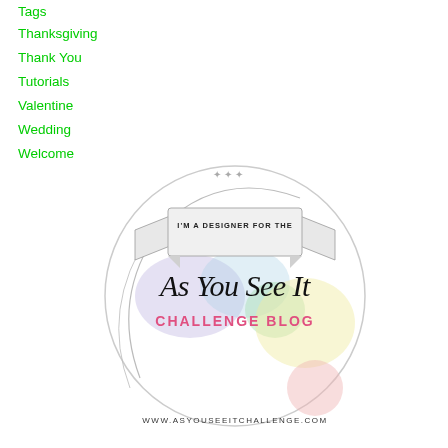Tags
Thanksgiving
Thank You
Tutorials
Valentine
Wedding
Welcome
[Figure (logo): As You See It Challenge Blog designer badge logo with ribbon banner reading 'I'M A DESIGNER FOR THE As You See It CHALLENGE BLOG' and website URL www.asyouseeitchallenge.com]